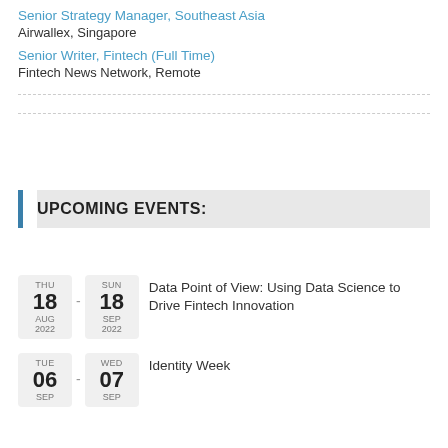Senior Strategy Manager, Southeast Asia
Airwallex, Singapore
Senior Writer, Fintech (Full Time)
Fintech News Network, Remote
UPCOMING EVENTS:
THU 18 AUG 2022 - SUN 18 SEP 2022: Data Point of View: Using Data Science to Drive Fintech Innovation
TUE 06 SEP - WED 07 SEP: Identity Week